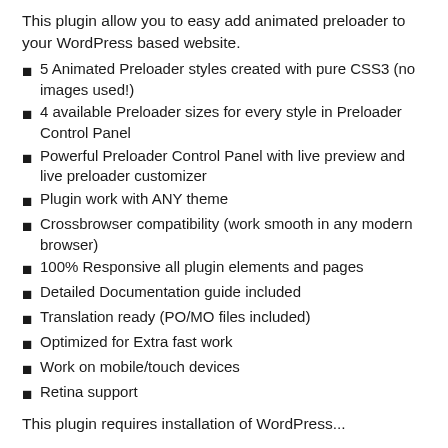This plugin allow you to easy add animated preloader to your WordPress based website.
5 Animated Preloader styles created with pure CSS3 (no images used!)
4 available Preloader sizes for every style in Preloader Control Panel
Powerful Preloader Control Panel with live preview and live preloader customizer
Plugin work with ANY theme
Crossbrowser compatibility (work smooth in any modern browser)
100% Responsive all plugin elements and pages
Detailed Documentation guide included
Translation ready (PO/MO files included)
Optimized for Extra fast work
Work on mobile/touch devices
Retina support
This plugin requires installation of WordPress...